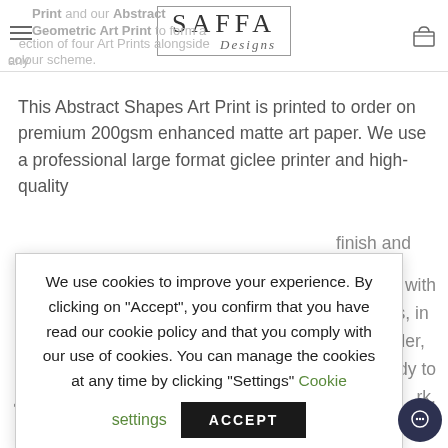SAFFA Designs
Print and our Abstract Geometric Art Print to form a selection of four Art Prints alongside any colour scheme.
This Abstract Shapes Art Print is printed to order on premium 200gsm enhanced matte art paper. We use a professional large format giclee printer and high-quality finish and 100+ with nt sizes, in a e to order, so d ready to rk.
We use cookies to improve your experience. By clicking on "Accept", you confirm that you have read our cookie policy and that you comply with our use of cookies. You can manage the cookies at any time by clicking "Settings" Cookie settings
[Figure (other): Cookie accept button (ACCEPT) and Cookie settings link in green]